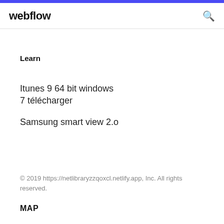webflow
Learn
Itunes 9 64 bit windows 7 télécharger
Samsung smart view 2.o
© 2019 https://netlibraryzzqoxcl.netlify.app, Inc. All rights reserved.
MAP